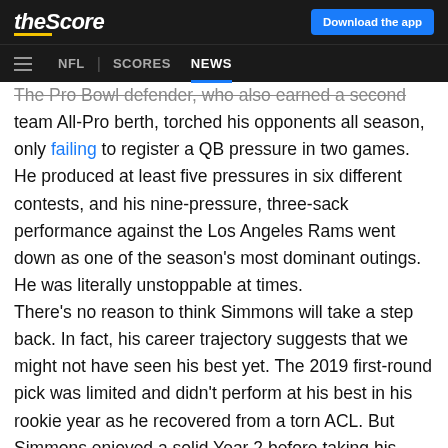theScore | Download the app | NFL | SCORES | NEWS
The Pro Bowl defender, who also earned a second team All-Pro berth, torched his opponents all season, only failing to register a QB pressure in two games. He produced at least five pressures in six different contests, and his nine-pressure, three-sack performance against the Los Angeles Rams went down as one of the season's most dominant outings. He was literally unstoppable at times.
There's no reason to think Simmons will take a step back. In fact, his career trajectory suggests that we might not have seen his best yet. The 2019 first-round pick was limited and didn't perform at his best in his rookie year as he recovered from a torn ACL. But Simmons enjoyed a solid Year 2 before taking his game to another level in 2021. He's one of just seven